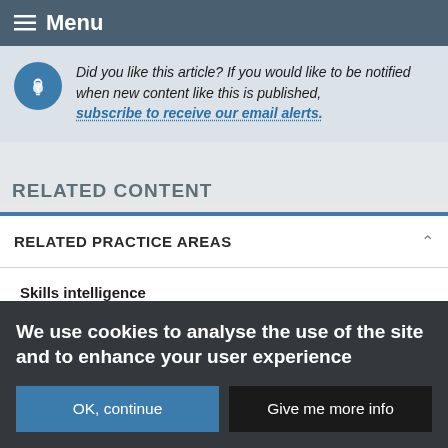Menu
Did you like this article? If you would like to be notified when new content like this is published, subscribe to receive our email alerts.
RELATED CONTENT
RELATED PRACTICE AREAS
Skills intelligence
We use cookies to analyse the use of the site and to enhance your user experience
OK, continue
Give me more info